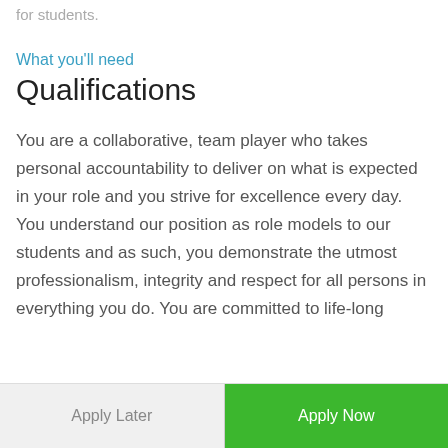for students.
What you'll need
Qualifications
You are a collaborative, team player who takes personal accountability to deliver on what is expected in your role and you strive for excellence every day. You understand our position as role models to our students and as such, you demonstrate the utmost professionalism, integrity and respect for all persons in everything you do. You are committed to life-long
Apply Later
Apply Now